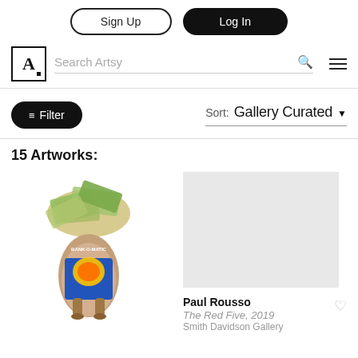Sign Up | Log In
Search Artsy
Filter | Sort: Gallery Curated
15 Artworks:
[Figure (photo): Sculpture artwork covered with dollar bills and a colorful BANK-O-MATIC label]
[Figure (photo): Gray placeholder image for second artwork]
Paul Rousso
The Red Five, 2019
Smith Davidson Gallery